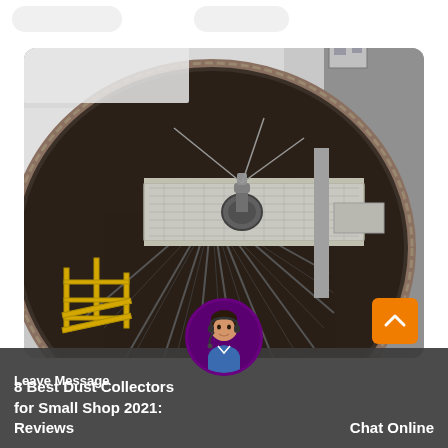[Figure (photo): Aerial/overhead view of a large industrial circular dust collector or clarifier tank with a central rotating mechanism, walkway bridge across the top, yellow safety railings, and an industrial building in the background.]
8 Best Dust Collectors for Small Shop 2021: Reviews
Leave Message
Chat Online